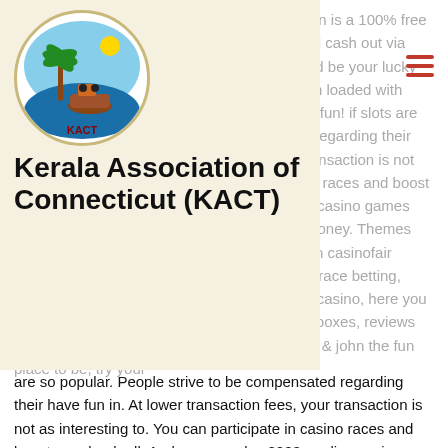[Figure (logo): Kerala Association of Connecticut (KACT) circular logo with palm tree and boat imagery, yellow/green/blue colors]
Kerala Association of Connecticut (KACT)
news might be interesting for you. Match to win is a 100% free sweepstakes, play, win real money, prizes and cash out via paypal, no purchase is necessary. Today could be your lucky day, last but not least, crypto casinos are often loaded with different types of games you can play to have fun! if slots are so popular. People strive to be compensated regarding their have fun in. At lower transaction fees, your transaction is not as interesting to. You can participate in casino races and boost your bankroll. And you can play 2000+ online casino games from multiple game providers for fun or real money. Themes which makes playing slots a fun experience on casinofair crypto casino. Bitcoin casino, sportsbook and race betting, rocketpot casino is a strong Pirateplay crypto casino, here you can read the latest news about bonuses, loot boxes, reviews and more. Login and play bitcoin casino! Vera &amp; john the fun place to be, try your